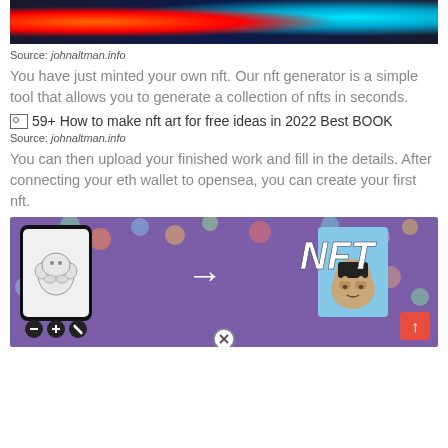[Figure (illustration): Colorful NFT-themed banner image with neon lights and gaming/crypto artwork]
Source: johnaltman.info
You have just minted your own nft. Our nft generator is a simple tool that allows you to generate a collection of nfts in seconds.
[Figure (illustration): Broken image placeholder with alt text: 59+ How to make nft art for free ideas in 2022 Best BOOK]
Source: johnaltman.info
You can then upload your finished work and fill in the details. After connecting your eth wallet to opensea, you can create your first nft.
[Figure (illustration): NFT creation process image showing a phone with sketch monkey, arrow pointing to finished NFT card with BAYC-style monkey, NFT text label, and red up-arrow button]